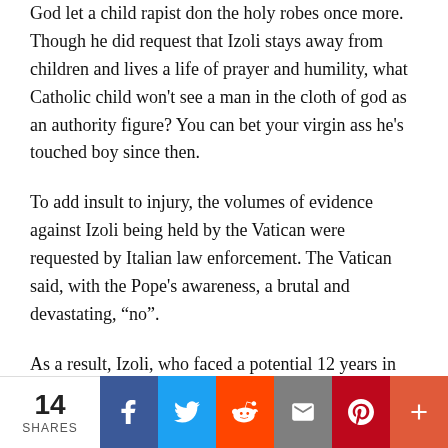God let a child rapist don the holy robes once more. Though he did request that Izoli stays away from children and lives a life of prayer and humility, what Catholic child won't see a man in the cloth of god as an authority figure? You can bet your virgin ass he's touched boy since then.
To add insult to injury, the volumes of evidence against Izoli being held by the Vatican were requested by Italian law enforcement. The Vatican said, with the Pope's awareness, a brutal and devastating, “no”.
As a result, Izoli, who faced a potential 12 years in prison, walked away with just under
14 SHARES | Facebook | Twitter | Reddit | Email | Pinterest | More